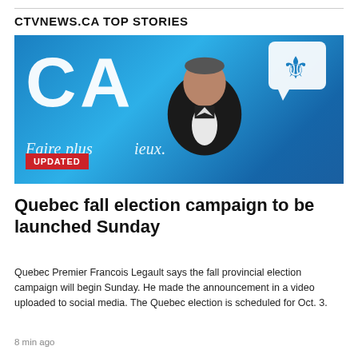CTVNEWS.CA TOP STORIES
[Figure (photo): Quebec Premier Francois Legault standing in front of a blue CAQ (Coalition Avenir Québec) backdrop with 'Faire plus...ieux.' text and a fleur-de-lis logo. An UPDATED badge in red appears in the lower left corner of the photo.]
Quebec fall election campaign to be launched Sunday
Quebec Premier Francois Legault says the fall provincial election campaign will begin Sunday. He made the announcement in a video uploaded to social media. The Quebec election is scheduled for Oct. 3.
8 min ago